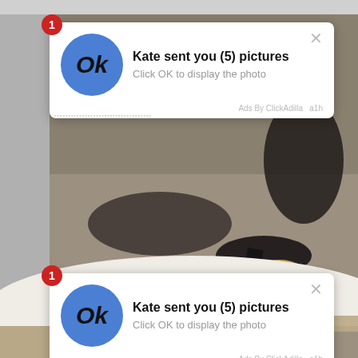[Figure (screenshot): Screenshot of a webpage with a photo background (legs on sofa with high heels) and two overlapping notification/ad popups reading 'Kate sent you (5) pictures - Click OK to display the photo', with blue OK circle icons, red badge number 1, close X buttons, and 'Ads By ClickAdilla a1h' attribution. The popup appears twice - once at the top and once at the bottom of the image.]